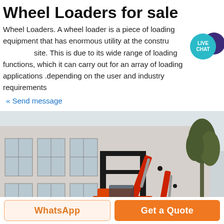Wheel Loaders for sale
Wheel Loaders. A wheel loader is a piece of loading equipment that has enormous utility at the construction site. This is due to its wide range of loading functions, which it can carry out for an array of loading applications .depending on the user and industry requirements
« Send message
[Figure (photo): Photo of a backhoe loader / mini excavator with red arm attachment parked in front of a large industrial warehouse building with white walls and large windows. Trees visible on the right.]
WhatsApp | Get a Quote